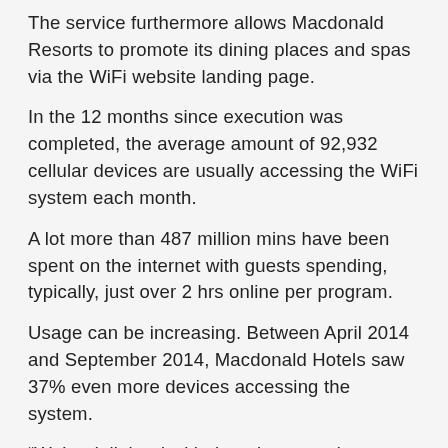The service furthermore allows Macdonald Resorts to promote its dining places and spas via the WiFi website landing page.
In the 12 months since execution was completed, the average amount of 92,932 cellular devices are usually accessing the WiFi system each month.
A lot more than 487 million mins have been spent on the internet with guests spending, typically, just over 2 hrs online per program.
Usage can be increasing. Between April 2014 and September 2014, Macdonald Hotels saw 37% even more devices accessing the system.
“We’re delighted with the take-up and so are equally joyful with what sort of WiFi system has performed,” mentioned Stuart Garrick.
“We understood it would be a favorite service but talking with our guests, it’s very clear that it has really